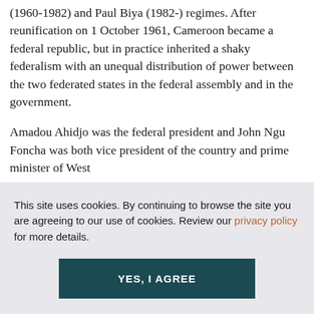(1960-1982) and Paul Biya (1982-) regimes. After reunification on 1 October 1961, Cameroon became a federal republic, but in practice inherited a shaky federalism with an unequal distribution of power between the two federated states in the federal assembly and in the government.
Amadou Ahidjo was the federal president and John Ngu Foncha was both vice president of the country and prime minister of West
This site uses cookies. By continuing to browse the site you are agreeing to our use of cookies. Review our privacy policy for more details.
YES, I AGREE